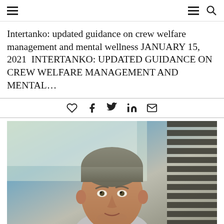Navigation header with hamburger menus and search icon
Intertanko: updated guidance on crew welfare management and mental wellness JANUARY 15, 2021  INTERTANKO: UPDATED GUIDANCE ON CREW WELFARE MANAGEMENT AND MENTAL…
[Figure (other): Social sharing icons row: heart (like), facebook, twitter, linkedin, email]
[Figure (photo): Portrait photo of a middle-aged man with grey-brown hair wearing a light shirt, photographed in front of bright windows with venetian blinds on the right side]